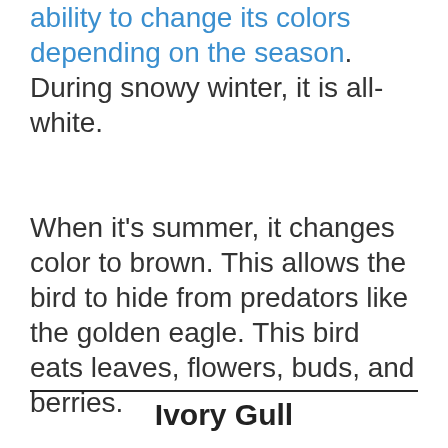ability to change its colors depending on the season. During snowy winter, it is all-white.
When it’s summer, it changes color to brown. This allows the bird to hide from predators like the golden eagle. This bird eats leaves, flowers, buds, and berries.
Ivory Gull